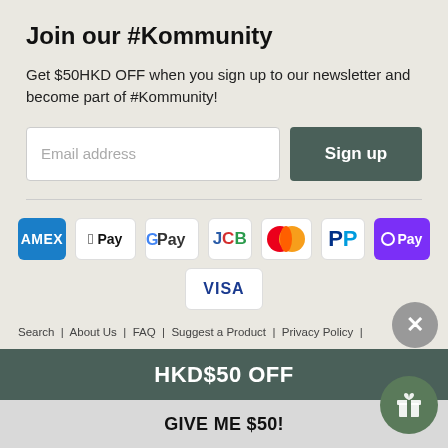Join our #Kommunity
Get $50HKD OFF when you sign up to our newsletter and become part of #Kommunity!
[Figure (screenshot): Email address input field with placeholder text and Sign up button]
[Figure (infographic): Payment method icons: AMEX, Apple Pay, Google Pay, JCB, Mastercard, PayPal, OPay, VISA]
Search | About Us | FAQ | Suggest a Product | Privacy Policy |
HKD$50 OFF
GIVE ME $50!